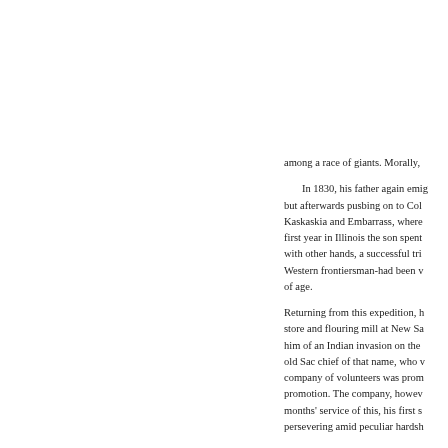among a race of giants. Morally,
In 1830, his father again emig but afterwards pusbing on to Col Kaskaskia and Embarrass, where first year in Illinois the son spent with other hands, a successful tri Western frontiersman-had been v of age.
Returning from this expedition, h store and flouring mill at New Sa him of an Indian invasion on the old Sac chief of that name, who v company of volunteers was prom promotion. The company, howev months' service of this, his first s persevering amid peculiar hardsh
With characteristic humor and sa 1848, upon the efforts of Genera to this episode in his life :